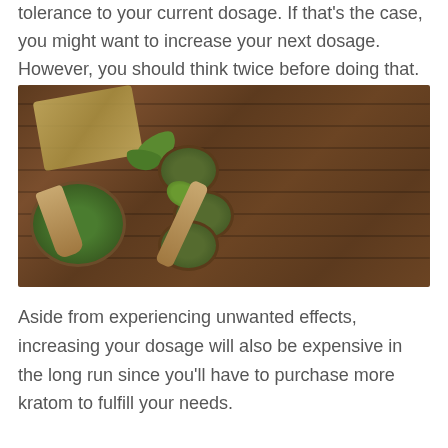tolerance to your current dosage. If that's the case, you might want to increase your next dosage. However, you should think twice before doing that.
[Figure (photo): Photo of green kratom/matcha powder in a wooden bowl, small metal tins with green powder, a bamboo whisk, wooden spoons with green powder, green leaves, and a bamboo tray arranged on a dark wooden surface.]
Aside from experiencing unwanted effects, increasing your dosage will also be expensive in the long run since you'll have to purchase more kratom to fulfill your needs.